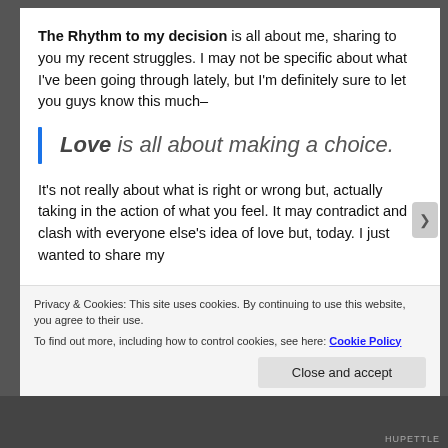The Rhythm to my decision is all about me, sharing to you my recent struggles. I may not be specific about what I've been going through lately, but I'm definitely sure to let you guys know this much–
Love is all about making a choice.
It's not really about what is right or wrong but, actually taking in the action of what you feel. It may contradict and clash with everyone else's idea of love but, today. I just wanted to share my
Privacy & Cookies: This site uses cookies. By continuing to use this website, you agree to their use.
To find out more, including how to control cookies, see here: Cookie Policy
Close and accept